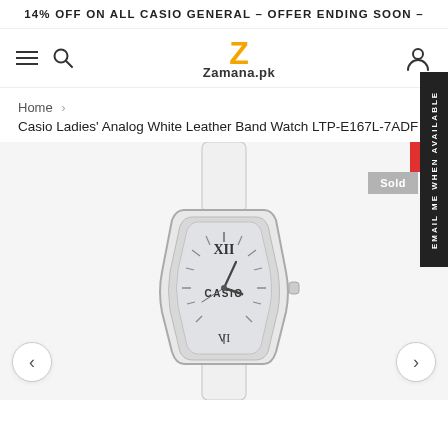14% OFF ON ALL CASIO GENERAL - OFFER ENDING SOON -
[Figure (logo): Zamana.pk logo with orange Z letter and text]
Home >
Casio Ladies' Analog White Leather Band Watch LTP-E167L-7ADF
[Figure (photo): Casio Ladies Analog White Leather Band Watch LTP-E167L-7ADF product photo showing a watch with white leather strap, silver tonneau-shaped case, silver dial with Roman numerals XII and VI, CASIO text, and two hands. Sold Out badge visible.]